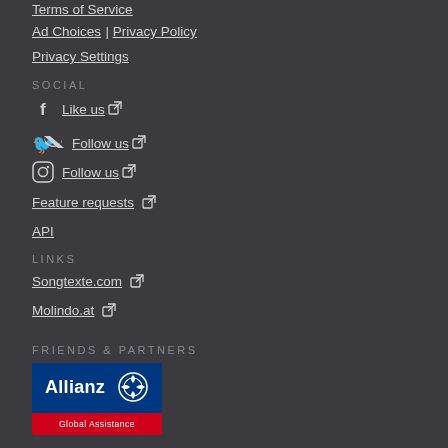Terms of Service
Ad Choices | Privacy Policy
Privacy Settings
SOCIAL
Like us
Follow us
Follow us
Feature requests
API
LINKS
Songtexte.com
Molindo.at
FRIENDS & PARTNERS
[Figure (logo): Allianz Global Assistance logo — blue background with Allianz text and eagle symbol, red bar at bottom with 'Global Assistance' text]